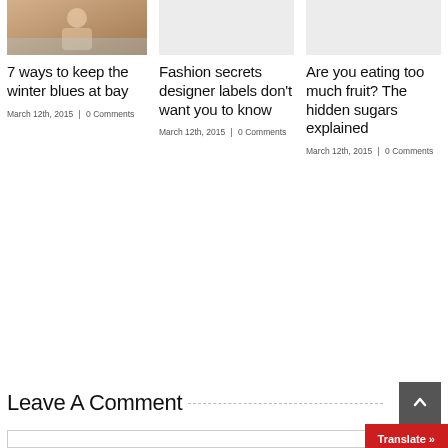[Figure (photo): Thumbnail photo of person in warm setting]
7 ways to keep the winter blues at bay
March 12th, 2015  |  0 Comments
[Figure (photo): Gray placeholder image]
Fashion secrets designer labels don't want you to know
March 12th, 2015  |  0 Comments
[Figure (photo): Gray placeholder image]
Are you eating too much fruit? The hidden sugars explained
March 12th, 2015  |  0 Comments
Leave A Comment
Translate »